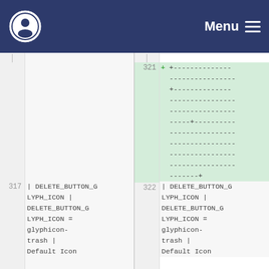Menu
321  + +--------------
        ----------------
        +--------------
        ----------------
        ----------------
        -----+----------
        ----------------
        ----------------
        ----------------
        ----------------
        -------+
317  |                    322  |
     DELETE_BUTTON_G          DELETE_BUTTON_G
     LYPH_ICON     |          LYPH_ICON     |
     DELETE_BUTTON_G          DELETE_BUTTON_G
     LYPH_ICON =              LYPH_ICON =
     glyphicon-               glyphicon-
     trash      |             trash      |
     Default Icon             Default Icon